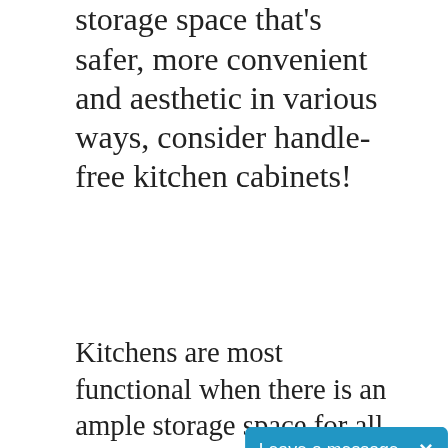if you're wanting to have a storage space that's safer, more convenient and aesthetic in various ways, consider handle-free kitchen cabinets!
Kitchens are most functional when there is an ample storage space for all your belongings related to cooking, baking, cleaning and more. Similarly, it is important that these areas are efficient and appropriate, making every homeowner productively use the kitchen anytime. Shelves, racks, drawers and cabinets are the standard storage spaces there, but they can perform even greater than they already can. H… already adding thi…